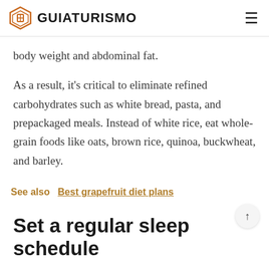GUIATURISMO
body weight and abdominal fat.
As a result, it's critical to eliminate refined carbohydrates such as white bread, pasta, and prepackaged meals. Instead of white rice, eat whole-grain foods like oats, brown rice, quinoa, buckwheat, and barley.
See also   Best grapefruit diet plans
Set a regular sleep schedule